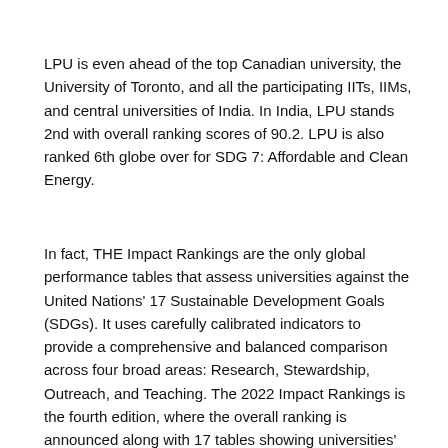LPU is even ahead of the top Canadian university, the University of Toronto, and all the participating IITs, IIMs, and central universities of India. In India, LPU stands 2nd with overall ranking scores of 90.2. LPU is also ranked 6th globe over for SDG 7: Affordable and Clean Energy.
In fact, THE Impact Rankings are the only global performance tables that assess universities against the United Nations' 17 Sustainable Development Goals (SDGs). It uses carefully calibrated indicators to provide a comprehensive and balanced comparison across four broad areas: Research, Stewardship, Outreach, and Teaching. The 2022 Impact Rankings is the fourth edition, where the overall ranking is announced along with 17 tables showing universities' progress towards delivering each of the SDGs.